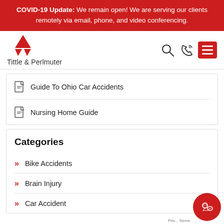COVID-19 Update: We remain open! We are serving our clients remotely via email, phone, and video conferencing.
[Figure (logo): Tittle & Perlmuter logo with red triangle icon and firm name text]
Guide To Ohio Car Accidents
Nursing Home Guide
Categories
Bike Accidents
Brain Injury
Car Accident